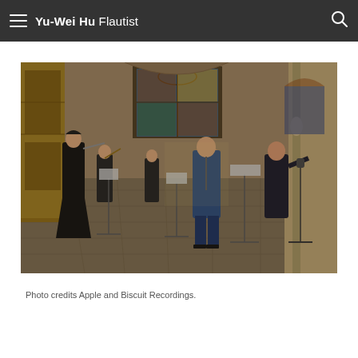Yu-Wei Hu Flautist
[Figure (photo): Musicians performing in a large cathedral or chapel interior. A woman in a black dress plays flute on the left, with string players behind her. In the center-right, a man in a blue suit stands at a music stand, and another man in dark clothing gestures nearby. Ornate wooden choir stalls and a large stained glass window are visible in the background.]
Photo credits Apple and Biscuit Recordings.